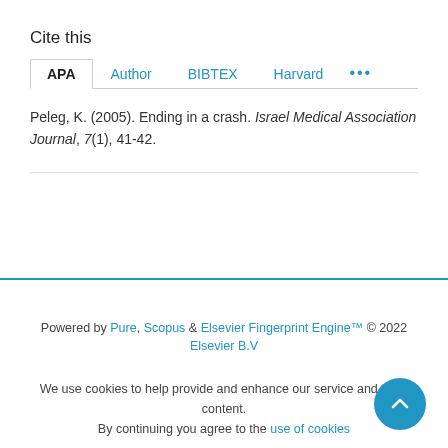Cite this
APA | Author | BIBTEX | Harvard | ...
Peleg, K. (2005). Ending in a crash. Israel Medical Association Journal, 7(1), 41-42.
Powered by Pure, Scopus & Elsevier Fingerprint Engine™ © 2022 Elsevier B.V
We use cookies to help provide and enhance our service and tailor content. By continuing you agree to the use of cookies
About web accessibility